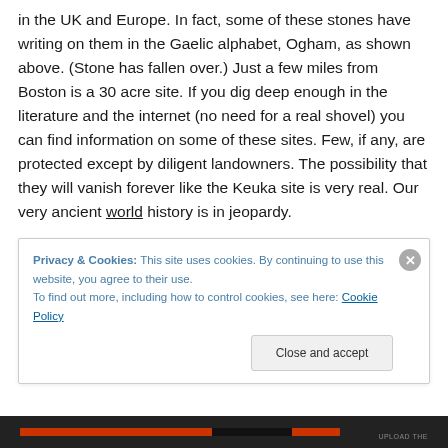in the UK and Europe. In fact, some of these stones have writing on them in the Gaelic alphabet, Ogham, as shown above. (Stone has fallen over.) Just a few miles from Boston is a 30 acre site. If you dig deep enough in the literature and the internet (no need for a real shovel) you can find information on some of these sites. Few, if any, are protected except by diligent landowners. The possibility that they will vanish forever like the Keuka site is very real. Our very ancient world history is in jeopardy.
These sites are in addition to the massive array of ground
[Figure (screenshot): Cookie consent banner overlay: 'Privacy & Cookies: This site uses cookies. By continuing to use this website, you agree to their use. To find out more, including how to control cookies, see here: Cookie Policy' with a 'Close and accept' button and an X close button.]